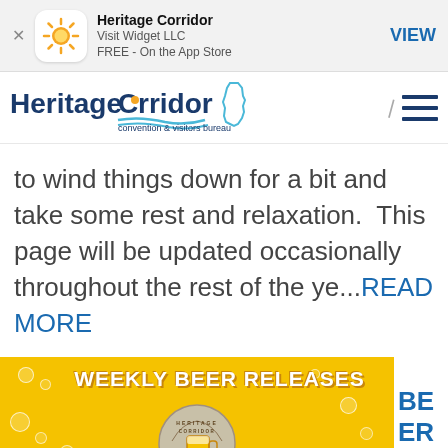[Figure (screenshot): App store banner with sun icon for Heritage Corridor app by Visit Widget LLC, FREE on the App Store, with VIEW button]
[Figure (logo): Heritage Corridor Convention & Visitors Bureau logo with Illinois state outline]
to wind things down for a bit and take some rest and relaxation.  This page will be updated occasionally throughout the rest of the ye...READ MORE
[Figure (infographic): Weekly Beer Releases - Heritage Corridor Ale Trail promotional banner image with yellow/gold background and beer mug, partially cut off]